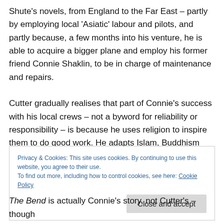Shute's novels, from England to the Far East – partly by employing local 'Asiatic' labour and pilots, and partly because, a few months into his venture, he is able to acquire a bigger plane and employ his former friend Connie Shaklin, to be in charge of maintenance and repairs.

Cutter gradually realises that part of Connie's success with his local crews – not a byword for reliability or responsibility – is because he uses religion to inspire them to do good work. He adapts Islam, Buddhism and
Privacy & Cookies: This site uses cookies. By continuing to use this website, you agree to their use.
To find out more, including how to control cookies, see here: Cookie Policy
The Bend is actually Connie's story, not Cutter's – though